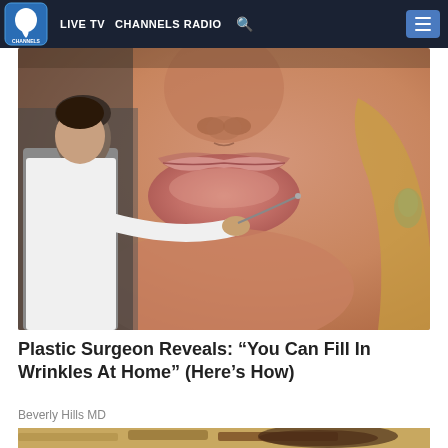LIVE TV  CHANNELS RADIO
[Figure (photo): Close-up of a woman's lips and face with a man in a white coat holding a needle/tool near her mouth, suggesting a cosmetic procedure.]
Plastic Surgeon Reveals: “You Can Fill In Wrinkles At Home” (Here’s How)
Beverly Hills MD
[Figure (photo): Partial view of sandy/rocky terrain with what appears to be a dark object, bottom of page.]